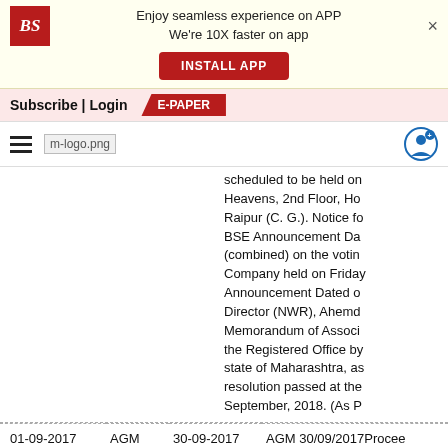[Figure (screenshot): App banner with Business Standard logo, 'Enjoy seamless experience on APP We're 10X faster on app' text, INSTALL APP button, and close X]
Subscribe | Login    E-PAPER
[Figure (logo): Hamburger menu icon and m-logo.png Business Standard mobile logo with user icon]
scheduled to be held on Heavens, 2nd Floor, Ho Raipur (C. G.). Notice fo BSE Announcement Da (combined) on the votin Company held on Frida Announcement Dated o Director (NWR), Ahemd Memorandum of Associ the Registered Office by state of Maharashtra, as resolution passed at the September, 2018. (As P
| Date | Type | Meeting Date | Description |
| --- | --- | --- | --- |
| 01-09-2017 | AGM | 30-09-2017 | AGM 30/09/2017Proce Company held on Satu Announcement date on |
| 07-09-2016 | AGM | 20-09-2016 | AGM 20.09.2016Pratik K Annual General Meeting September 20, 2016.(As 06.09.2016)Pratik Pane |